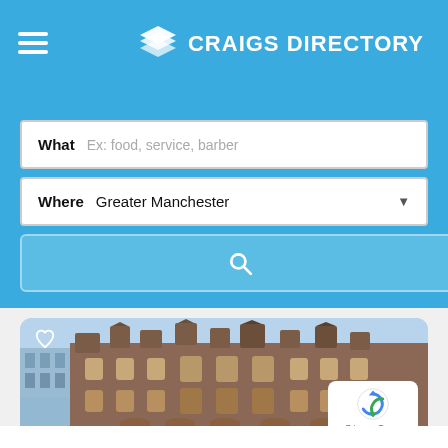CRAIGS DIRECTORY
What  Ex: food, service, barber
Where  Greater Manchester
[Figure (screenshot): Search button with magnifying glass icon on light blue background]
[Figure (photo): Victorian red-brick building in Greater Manchester photographed at dusk against blue sky, with a modern glass building visible on the left. A heart/favorite icon is shown in the top-left corner of the card. A reCAPTCHA privacy badge is shown in the bottom-right corner.]